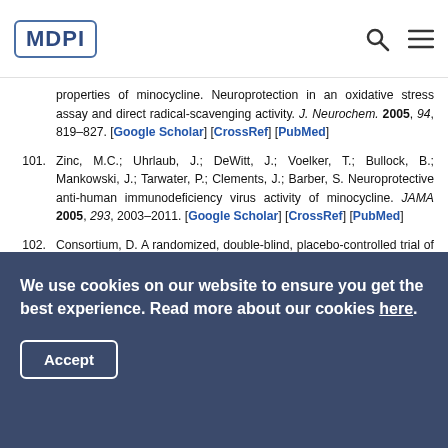MDPI
properties of minocycline. Neuroprotection in an oxidative stress assay and direct radical-scavenging activity. J. Neurochem. 2005, 94, 819–827. [Google Scholar] [CrossRef] [PubMed]
101. Zinc, M.C.; Uhrlaub, J.; DeWitt, J.; Voelker, T.; Bullock, B.; Mankowski, J.; Tarwater, P.; Clements, J.; Barber, S. Neuroprotective anti-human immunodeficiency virus activity of minocycline. JAMA 2005, 293, 2003–2011. [Google Scholar] [CrossRef] [PubMed]
102. Consortium, D. A randomized, double-blind, placebo-controlled trial of deprenyl and thioctic acid in human immunodeficiency virus-associated cognitive impairment:
We use cookies on our website to ensure you get the best experience. Read more about our cookies here.